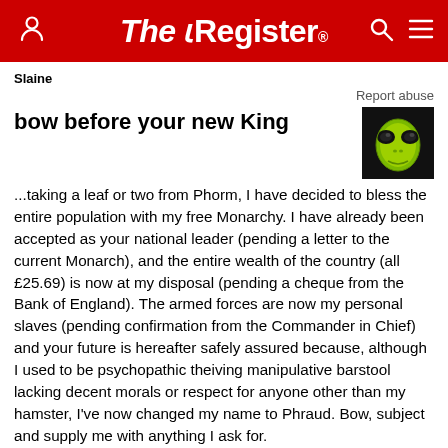The Register
Slaine
Report abuse
bow before your new King
[Figure (illustration): Avatar image of a green alien face with large eyes and a menacing expression on a black background]
...taking a leaf or two from Phorm, I have decided to bless the entire population with my free Monarchy. I have already been accepted as your national leader (pending a letter to the current Monarch), and the entire wealth of the country (all £25.69) is now at my disposal (pending a cheque from the Bank of England). The armed forces are now my personal slaves (pending confirmation from the Commander in Chief) and your future is hereafter safely assured because, although I used to be psychopathic theiving manipulative barstool lacking decent morals or respect for anyone other than my hamster, I've now changed my name to Phraud. Bow, subject and supply me with anything I ask for.